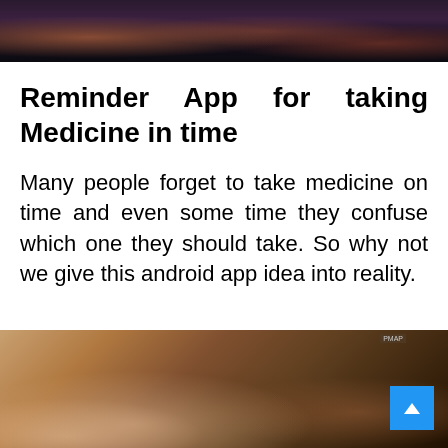[Figure (photo): Top portion of a photo showing people at what appears to be a social gathering, dimly lit scene with figures visible]
Reminder App for taking Medicine in time
Many people forget to take medicine on time and even some time they confuse which one they should take. So why not we give this android app idea into reality.
[Figure (photo): Bottom photo showing hands holding a glass of water, warm toned scene suggesting taking medicine with water]